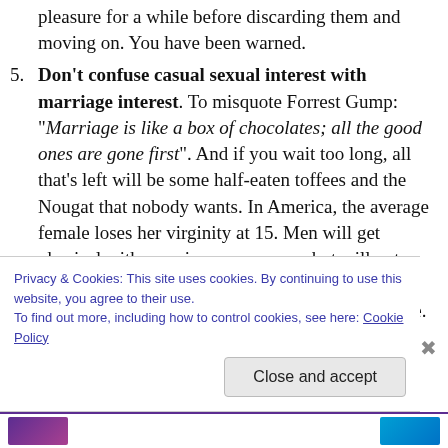pleasure for a while before discarding them and moving on. You have been warned.
5. Don't confuse casual sexual interest with marriage interest. To misquote Forrest Gump: “Marriage is like a box of chocolates; all the good ones are gone first”. And if you wait too long, all that’s left will be some half-eaten toffees and the Nougat that nobody wants. In America, the average female loses her virginity at 15. Men will get physical with promiscuous women, but will not marry them. Understand that if he sees you as promiscuous he will not marry you. Nor should he.
Privacy & Cookies: This site uses cookies. By continuing to use this website, you agree to their use.
To find out more, including how to control cookies, see here: Cookie Policy